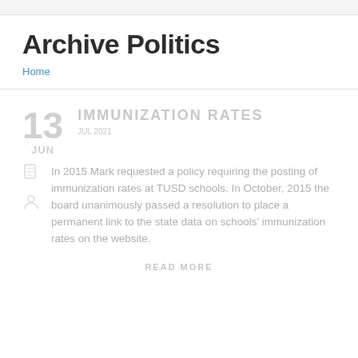Archive Politics
Home
IMMUNIZATION RATES
In 2015 Mark requested a policy requiring the posting of immunization rates at TUSD schools. In October, 2015 the board unanimously passed a resolution to place a permanent link to the state data on schools' immunization rates on the website.
READ MORE